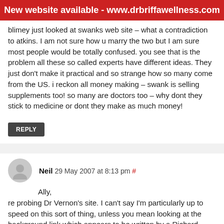New website available - www.drbriffawellness.com
blimey just looked at swanks web site – what a contradiction to atkins. I am not sure how u marry the two but I am sure most people would be totally confused. you see that is the problem all these so called experts have different ideas. They just don't make it practical and so strange how so many come from the US. i reckon all money making – swank is selling supplements too! so many are doctors too – why dont they stick to medicine or dont they make as much money!
REPLY
Neil 29 May 2007 at 8:13 pm #
Ally,
re probing Dr Vernon's site. I can't say I'm particularly up to speed on this sort of thing, unless you mean looking at the background link which appears to be written by a Richard Rothstein. Presumably thats Dr Vernon's wife. I